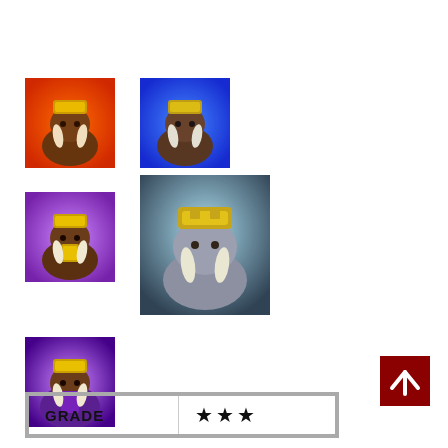[Figure (illustration): Game character icon - mammoth/elephant warrior with red/orange background, row 1 left]
[Figure (illustration): Game character icon - mammoth/elephant warrior with blue background, row 1 right]
[Figure (illustration): Game character icon - mammoth/elephant warrior with purple/gold background, row 2 left]
[Figure (illustration): Game character icon - mammoth/elephant warrior with dark/grey background, larger, row 2 right]
[Figure (illustration): Game character icon - mammoth/elephant warrior with purple robe background, row 3]
[Figure (illustration): Back to top button with upward arrow, red background]
| GRADE | ★★★ |
| --- | --- |